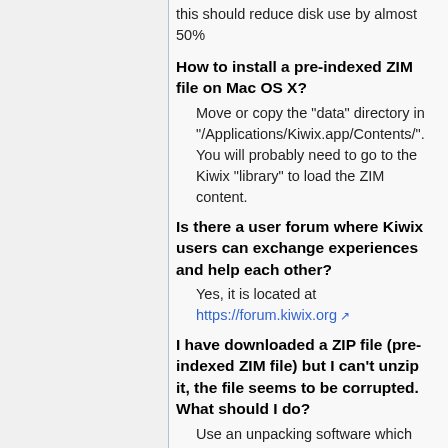this should reduce disk use by almost 50%
How to install a pre-indexed ZIM file on Mac OS X?
Move or copy the "data" directory in "/Applications/Kiwix.app/Contents/". You will probably need to go to the Kiwix "library" to load the ZIM content.
Is there a user forum where Kiwix users can exchange experiences and help each other?
Yes, it is located at https://forum.kiwix.org
I have downloaded a ZIP file (pre-indexed ZIM file) but I can't unzip it, the file seems to be corrupted. What should I do?
Use an unpacking software which